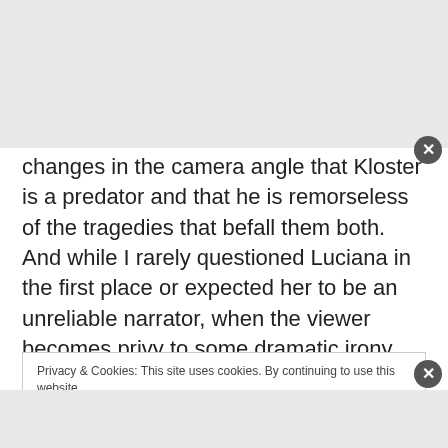changes in the camera angle that Kloster is a predator and that he is remorseless of the tragedies that befall them both. And while I rarely questioned Luciana in the first place or expected her to be an unreliable narrator, when the viewer becomes privy to some dramatic irony that nobody on screen ever sees, all doubt completely receded. Without suspense in the story, wondering whether Kloster really is the killer or not, The Warth of God just feels more like a dull drama than a thriller.
Privacy & Cookies: This site uses cookies. By continuing to use this website,